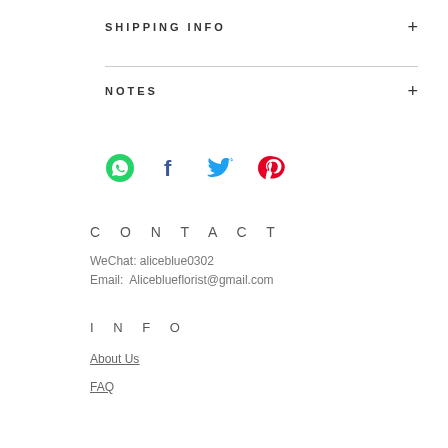SHIPPING INFO
NOTES
[Figure (illustration): Social media share icons: WhatsApp (green), Facebook (dark blue f), Twitter (blue bird), Pinterest (red P)]
CONTACT
WeChat: aliceblue0302
Email:  Aliceblueflorist@gmail.com
INFO
About Us
FAQ